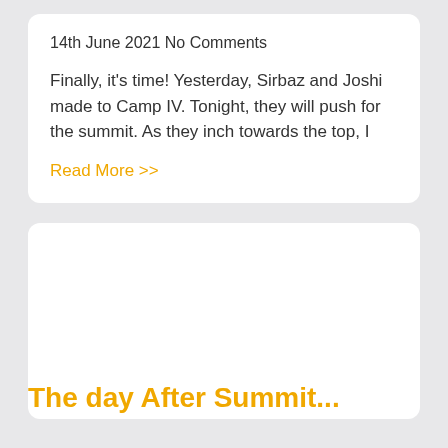14th June 2021 No Comments
Finally, it's time! Yesterday, Sirbaz and Joshi made to Camp IV. Tonight, they will push for the summit. As they inch towards the top, I
Read More >>
[Figure (photo): White card area with mostly empty space and a partial yellow/orange title text visible at the bottom edge, cut off.]
The day After Summit...